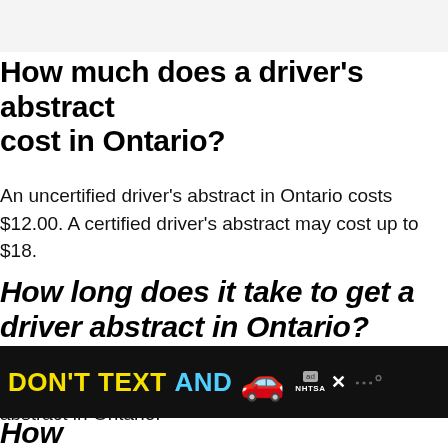How much does a driver's abstract cost in Ontario?
An uncertified driver's abstract in Ontario costs $12.00. A certified driver's abstract may cost up to $18.
How long does it take to get a driver abstract in Ontario?
It usually takes 15 business days to get a driver's abstract in Ontario.
[Figure (other): Advertisement banner: DON'T TEXT AND [car emoji] ad logo NHTSA close button]
How